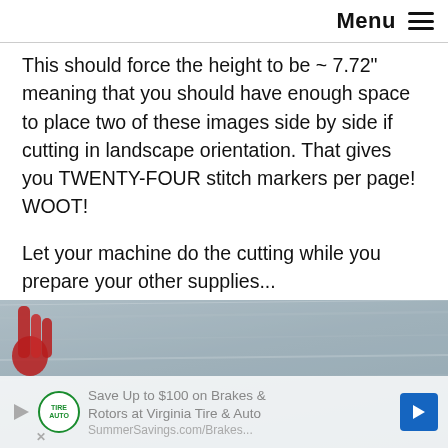Menu ☰
This should force the height to be ~ 7.72" meaning that you should have enough space to place two of these images side by side if cutting in landscape orientation. That gives you TWENTY-FOUR stitch markers per page! WOOT!
Let your machine do the cutting while you prepare your other supplies...
[Figure (photo): Bottom portion of the page showing a photo with a red hand visible on the left and a wood-grain textured background. An advertisement banner overlays the bottom: 'Save Up to $100 on Brakes & Rotors at Virginia Tire & Auto' with a logo circle, play button, and blue arrow button. An X close button is visible at the bottom left of the ad.]